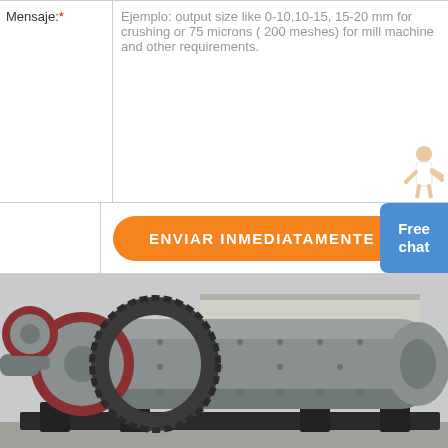Mensaje:* — Ejemplo: output size like 0-10,10-15, 15-20 mm for crushing or 75 microns ( 200 meshes) for mill machine and other requirements.
ENVIAR INMEDIATAMENTE
Free chat
[Figure (photo): Large industrial ball mill machine with a cylindrical grey drum, large external gear ring, and red-capped flanged ends, mounted on a black steel frame. Industrial facility background visible.]